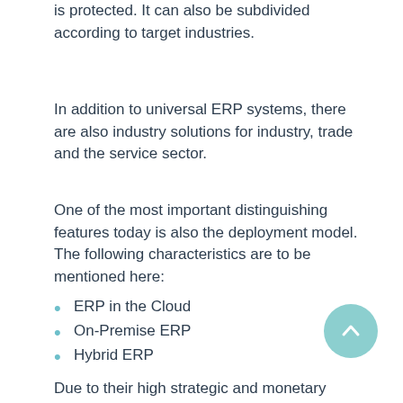is protected. It can also be subdivided according to target industries.
In addition to universal ERP systems, there are also industry solutions for industry, trade and the service sector.
One of the most important distinguishing features today is also the deployment model. The following characteristics are to be mentioned here:
ERP in the Cloud
On-Premise ERP
Hybrid ERP
Due to their high strategic and monetary